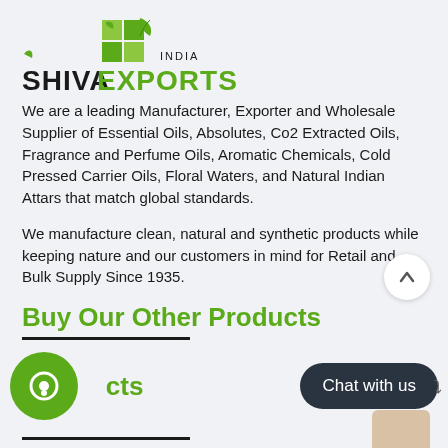[Figure (logo): Shiva Exports India logo with green leaf and grid icon above stylized text SHIVA EXPORTS INDIA]
We are a leading Manufacturer, Exporter and Wholesale Supplier of Essential Oils, Absolutes, Co2 Extracted Oils, Fragrance and Perfume Oils, Aromatic Chemicals, Cold Pressed Carrier Oils, Floral Waters, and Natural Indian Attars that match global standards.
We manufacture clean, natural and synthetic products while keeping nature and our customers in mind for Retail and Bulk Supply Since 1935.
Buy Our Other Products
Products
[Figure (other): Green circular chat/support icon]
[Figure (other): Dark rounded rectangle Chat with us button]
[Figure (other): Scroll to top arrow button (circle with chevron up)]
[Figure (photo): Partial product image visible at bottom right corner]